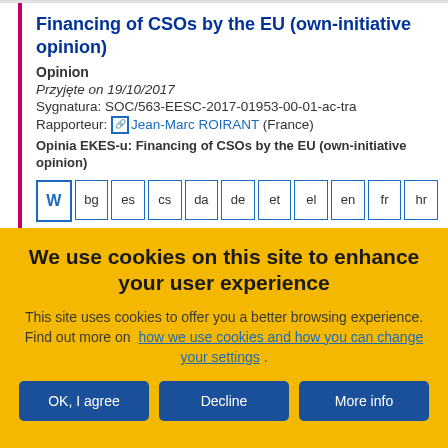Financing of CSOs by the EU (own-initiative opinion)
Opinion
Przyjęte on 19/10/2017
Sygnatura: SOC/563-EESC-2017-01953-00-01-ac-tra
Rapporteur: Jean-Marc ROIRANT (France)
Opinia EKES-u: Financing of CSOs by the EU (own-initiative opinion)
[Figure (other): Language selection buttons: W (Word), bg, es, cs, da, de, et, el, en, fr, hr]
We use cookies on this site to enhance your user experience
This site uses cookies to offer you a better browsing experience. Find out more on how we use cookies and how you can change your settings .
OK, I agree | Decline | More info